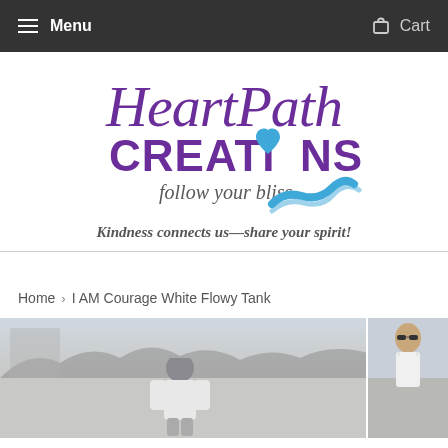Menu   Cart
[Figure (logo): HeartPath Creations logo with script 'HeartPath' text in purple, bold 'CREATIONS' with a heart replacing the O, and tagline 'follow your bliss...' with a blue winding path graphic]
Kindness connects us—share your spirit!
Home > I AM Courage White Flowy Tank
[Figure (photo): Product photo of I AM Courage White Flowy Tank worn by a model outdoors, with trees in background. Second thumbnail shows another model wearing the white tank top.]